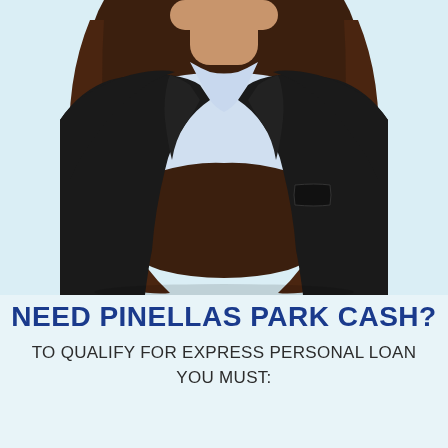[Figure (photo): A professional woman with long brown hair, wearing a black blazer over a light blue/white shirt, photographed from the shoulders up against a light blue/white background. Only the torso and lower head/neck area are visible (head cropped at top).]
NEED PINELLAS PARK CASH?
TO QUALIFY FOR EXPRESS PERSONAL LOAN YOU MUST: